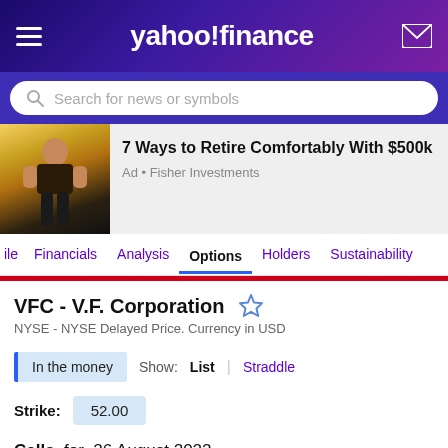yahoo!finance
Search for news or symbols
[Figure (photo): Advertisement image showing a shirtless man outdoors]
7 Ways to Retire Comfortably With $500k
Ad • Fisher Investments
ile  Financials  Analysis  Options  Holders  Sustainability
VFC - V.F. Corporation
NYSE - NYSE Delayed Price. Currency in USD
In the money  Show: List | Straddle
Strike: 52.00
Calls for 26 August 2022